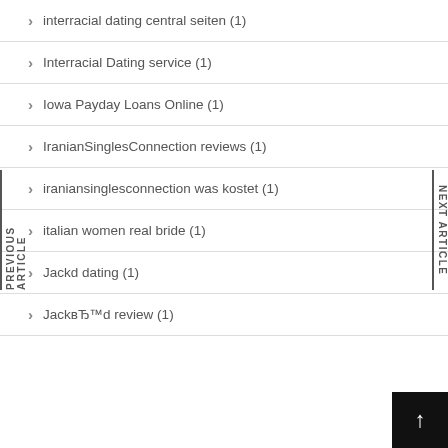interracial dating central seiten (1)
Interracial Dating service (1)
Iowa Payday Loans Online (1)
IranianSinglesConnection reviews (1)
iraniansinglesconnection was kostet (1)
italian women real bride (1)
Jackd dating (1)
JackвЂ™d review (1)